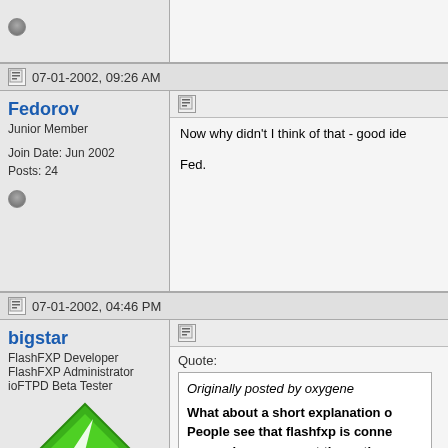[Figure (screenshot): Partial top forum post row showing offline status icon in user column]
07-01-2002, 09:26 AM
Fedorov
Junior Member

Join Date: Jun 2002
Posts: 24
Now why didn't I think of that - good ide

Fed.
07-01-2002, 04:46 PM
bigstar
FlashFXP Developer
FlashFXP Administrator
ioFTPD Beta Tester

Join Date: Oct 2001
Posts: 8,012
Quote:
Originally posted by oxygene
What about a short explanation o
People see that flashfxp is conne
so much spyware out there; the 
crack the software could decide 
'evil', especialy when they heard